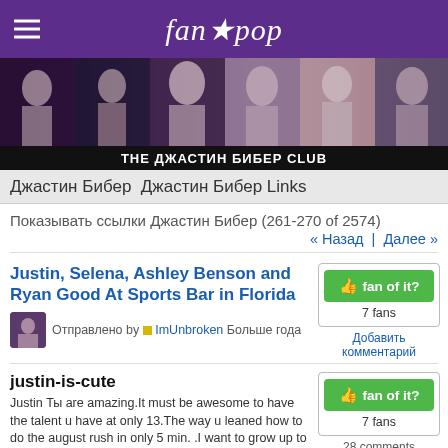fanpop
[Figure (photo): Banner with multiple photos of Justin Bieber collage]
THE ДЖАСТИН БИБЕР CLUB
Джастин Бибер Джастин Бибер Links
Показывать ссылки Джастин Бибер (261-270 of 2574)
« Назад  |  Далее »
Justin, Selena, Ashley Benson and Ryan Good At Sports Bar in Florida
Отправлено by ImUnbroken Больше года
7 fans
Добавить комментарий
justin-is-cute
Justin Ты are amazing.It must be awesome to have the talent u have at only 13.The way u leaned how to do the august rush in only 5 min. .I want to grow up to have as much talent as you!
Отправлено by justinrocks Больше года
7 fans
28 comments
justinbieber